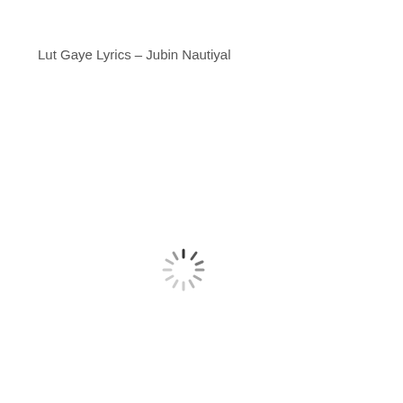Lut Gaye Lyrics – Jubin Nautiyal
[Figure (other): Loading spinner icon — a circular arrangement of short radial dashes in dark and light gray, indicating a loading state]